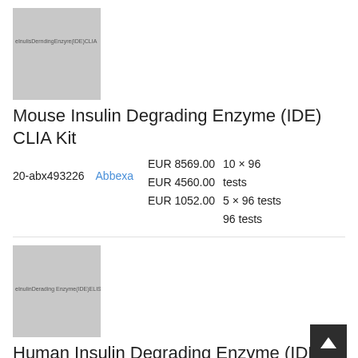[Figure (photo): Product image placeholder for Mouse Insulin Degrading Enzyme (IDE) CLIA Kit with gray background and faint text]
Mouse Insulin Degrading Enzyme (IDE) CLIA Kit
| ID | Supplier | Price | Quantity |
| --- | --- | --- | --- |
| 20-abx493226 | Abbexa | EUR 8569.00 | 10 × 96 tests |
|  |  | EUR 4560.00 | 5 × 96 tests |
|  |  | EUR 1052.00 | 96 tests |
[Figure (photo): Product image placeholder for Human Insulin Degrading Enzyme (IDE) ELISA Kit with gray background and faint text]
Human Insulin Degrading Enzyme (IDE) ELISA Kit